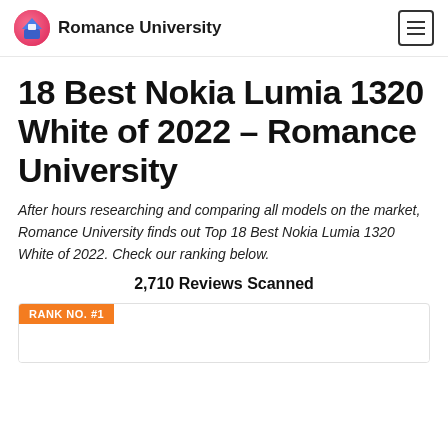Romance University
18 Best Nokia Lumia 1320 White of 2022 – Romance University
After hours researching and comparing all models on the market, Romance University finds out Top 18 Best Nokia Lumia 1320 White of 2022. Check our ranking below.
2,710 Reviews Scanned
RANK NO. #1